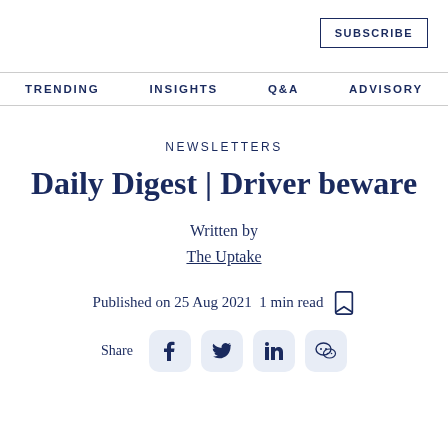SUBSCRIBE
TRENDING   INSIGHTS   Q&A   ADVISORY
NEWSLETTERS
Daily Digest | Driver beware
Written by
The Uptake
Published on 25 Aug 2021  1 min read
Share